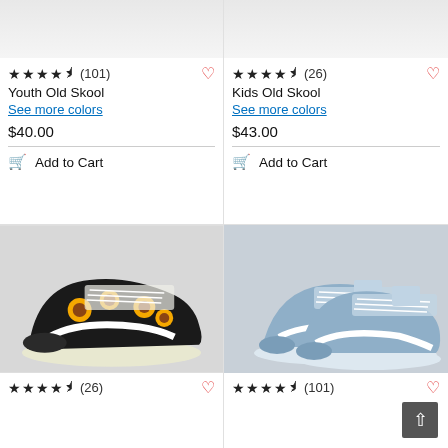[Figure (photo): Cropped bottom of youth shoe product image on gray background]
★★★★½ (101)
Youth Old Skool
See more colors
$40.00
Add to Cart
[Figure (photo): Cropped bottom of kids shoe product image on gray background]
★★★★½ (26)
Kids Old Skool
See more colors
$43.00
Add to Cart
[Figure (photo): Vans Old Skool youth shoes in black with sunflower print pattern, white laces and white Vans sidestripe, on white/gray background]
★★★★½ (26)
[Figure (photo): Vans Old Skool kids shoes in light blue suede with white Vans sidestripe and white laces, on light gray background]
★★★★½ (101)